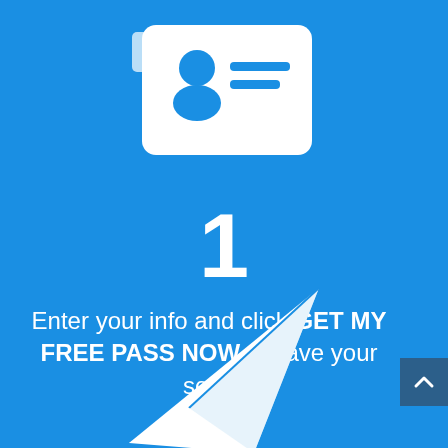[Figure (illustration): White ID card icon with person silhouette and horizontal lines, on blue background]
1
Enter your info and click GET MY FREE PASS NOW to save your seat.
[Figure (illustration): White paper airplane icon on blue background, bottom of page]